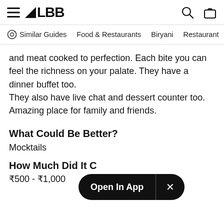LBB
Similar Guides   Food & Restaurants   Biryani   Restaurants
and meat cooked to perfection. Each bite you can feel the richness on your palate. They have a dinner buffet too.
They also have live chat and dessert counter too. Amazing place for family and friends.
What Could Be Better?
Mocktails
How Much Did It Cost?
₹500 - ₹1,000
[Figure (screenshot): Open In App button overlay with close X button, dark pill-shaped UI element]